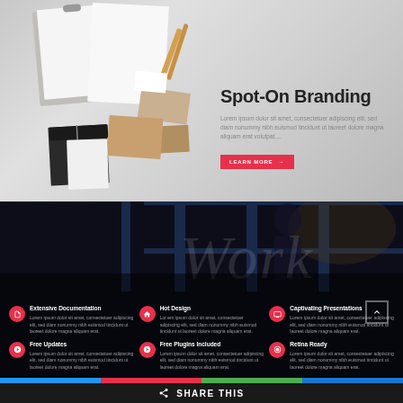[Figure (photo): Top section: overhead photo of branding stationery items - clipboard, papers, envelopes, business cards, notebooks on light gray background]
Spot-On Branding
Lorem ipsum dolor sit amet, consectetuer adipiscing elit, sed diam nonummy nibh euismod tincidunt ut laoreet dolore magna aliquam erat volutpat.
LEARN MORE →
[Figure (photo): Dark section with person silhouette and 'Work' written on window/glass in dark moody bar/office setting]
Extensive Documentation
Lorem ipsum dolor sit amet, consectetuer adipiscing elit, sed diam nonummy nibh euismod tincidunt ut laoreet dolore magna aliquam erat.
Hot Design
Lor em ipsum dolor sit amet, consectetuer adipiscing elit, sed diam nonummy nibh euismod tincidunt ut laoreet dolore magna aliquam erat.
Captivating Presentations
Lorem ipsum dolor sit amet, consectetuer adipiscing elit, sed diam nonummy nibh euismod tincidunt ut laoreet dolore magna aliquam erat.
Free Updates
Lorem ipsum dolor sit amet, consectetuer adipiscing elit, sed diam nonummy nibh euismod tincidunt ut laoreet dolore magna aliquam erat.
Free Plugins Included
Lorem ipsum dolor sit amet, consectetuer adipiscing elit, sed diam nonummy nibh euismod tincidunt ut laoreet dolore magna aliquam erat.
Retina Ready
Lorem ipsum dolor sit amet, consectetuer adipiscing elit, sed diam nonummy nibh euismod tincidunt ut laoreet dolore magna aliquam erat.
SHARE THIS